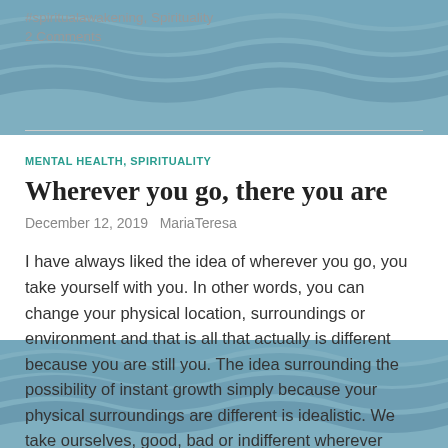#spiritualawakening, Spirituality
2 Comments
MENTAL HEALTH, SPIRITUALITY
Wherever you go, there you are
December 12, 2019   MariaTeresa
I have always liked the idea of wherever you go, you take yourself with you. In other words, you can change your physical location, surroundings or environment and that is all that actually is different because you are still you. The idea surrounding the possibility of instant growth simply because your physical surroundings are different is idealistic. We take ourselves, good, bad or indifferent wherever